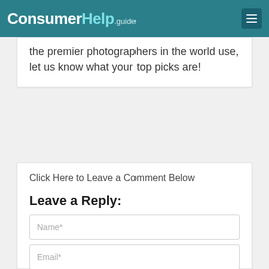ConsumerHelp.guide
the premier photographers in the world use, let us know what your top picks are!
Click Here to Leave a Comment Below
Leave a Reply:
Name*
Email*